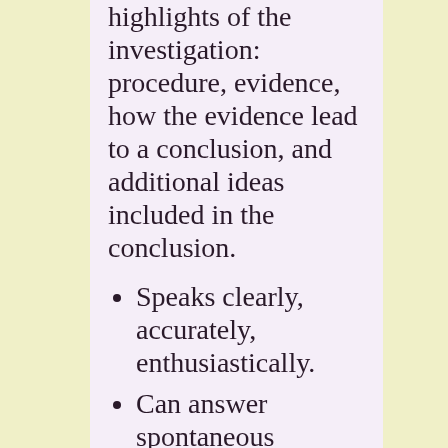highlights of the investigation: procedure, evidence, how the evidence lead to a conclusion, and additional ideas included in the conclusion.
Speaks clearly, accurately, enthusiastically.
Can answer spontaneous questions.
Speaks knowledgeably